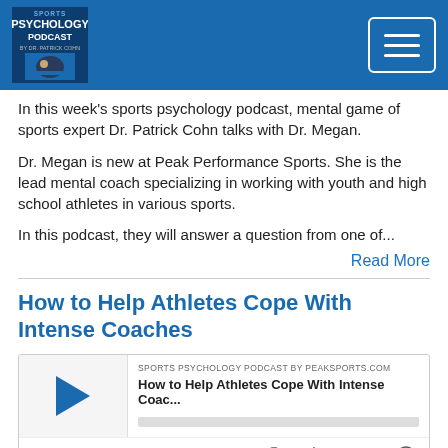Sports Psychology Podcast by PeakSports.com
In this week's sports psychology podcast, mental game of sports expert Dr. Patrick Cohn talks with Dr. Megan.
Dr. Megan is new at Peak Performance Sports. She is the lead mental coach specializing in working with youth and high school athletes in various sports.
In this podcast, they will answer a question from one of...
Read More
How to Help Athletes Cope With Intense Coaches
[Figure (screenshot): Podcast player widget showing episode 'How to Help Athletes Cope With Intense Coac...' from Sports Psychology Podcast by PeakSports.com, with play button, progress bar, time display 00:00:00, and media controls including cast, download, embed, and share icons.]
Oct 29, 2017